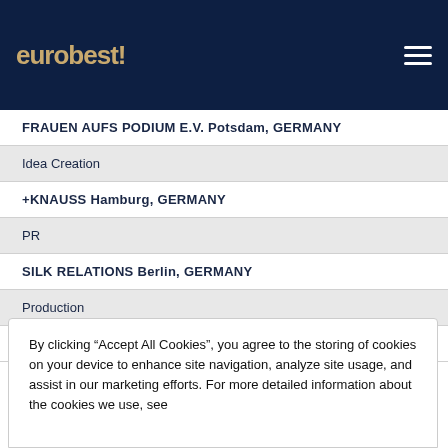eurobest
FRAUEN AUFS PODIUM E.V. Potsdam, GERMANY
Idea Creation
+KNAUSS Hamburg, GERMANY
PR
SILK RELATIONS Berlin, GERMANY
Production
DIE STUBE Hamburg, GERMANY
By clicking “Accept All Cookies”, you agree to the storing of cookies on your device to enhance site navigation, analyze site usage, and assist in our marketing efforts. For more detailed information about the cookies we use, see